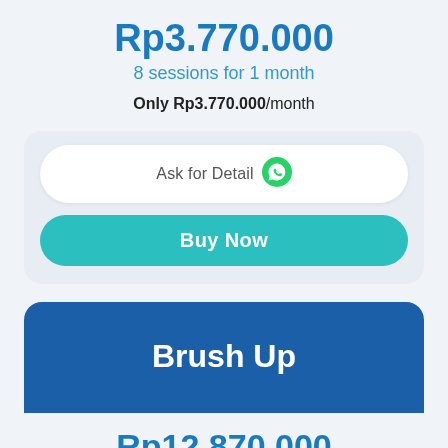Rp3.770.000
8 sessions for 1 month
Only Rp3.770.000/month
Ask for Detail
Buy Now
Brush Up
Rp12.870.000